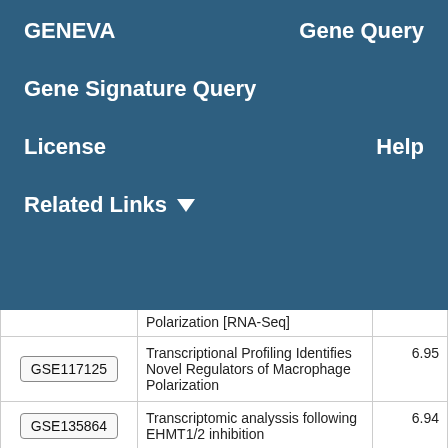GENEVA   Gene Query
Gene Signature Query
License   Help
Related Links ▾
|  | Description | Score |
| --- | --- | --- |
|  | Polarization [RNA-Seq] |  |
| GSE117125 | Transcriptional Profiling Identifies Novel Regulators of Macrophage Polarization | 6.95 |
| GSE135864 | Transcriptomic analyssis following EHMT1/2 inhibition | 6.94 |